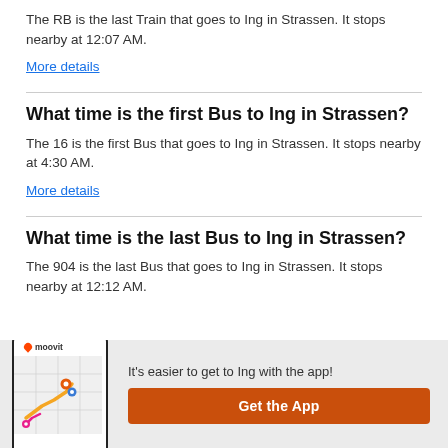The RB is the last Train that goes to Ing in Strassen. It stops nearby at 12:07 AM.
More details
What time is the first Bus to Ing in Strassen?
The 16 is the first Bus that goes to Ing in Strassen. It stops nearby at 4:30 AM.
More details
What time is the last Bus to Ing in Strassen?
The 904 is the last Bus that goes to Ing in Strassen. It stops nearby at 12:12 AM.
[Figure (screenshot): Moovit app promotional banner with phone mockup showing a map with a route, moovit logo, tagline and Get the App button]
It's easier to get to Ing with the app!
Get the App